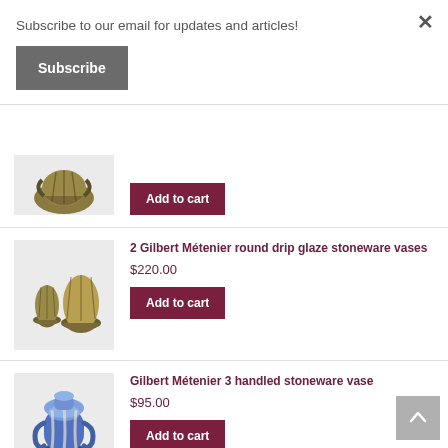Subscribe to our email for updates and articles!
Subscribe
[Figure (photo): Partial view of a stoneware vase with dark olive/green drip glaze and handles]
Add to cart
2 Gilbert Métenier round drip glaze stoneware vases
$220.00
[Figure (photo): Two round drip glaze stoneware vases side by side, olive/gold tones]
Add to cart
Gilbert Métenier 3 handled stoneware vase
$95.00
[Figure (photo): Blue and white 3-handled stoneware vase]
Add to cart